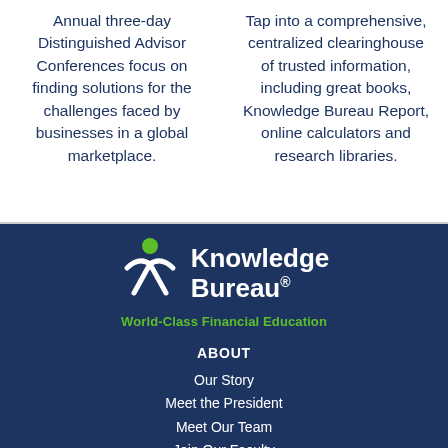Annual three-day Distinguished Advisor Conferences focus on finding solutions for the challenges faced by businesses in a global marketplace.
Tap into a comprehensive, centralized clearinghouse of trusted information, including great books, Knowledge Bureau Report, online calculators and research libraries.
[Figure (logo): Knowledge Bureau logo with green figure icon and text 'Knowledge Bureau®' in white, with tagline 'World-Class Financial Education' in green, on dark navy background]
ABOUT
Our Story
Meet the President
Meet Our Team
Join Our Faculty